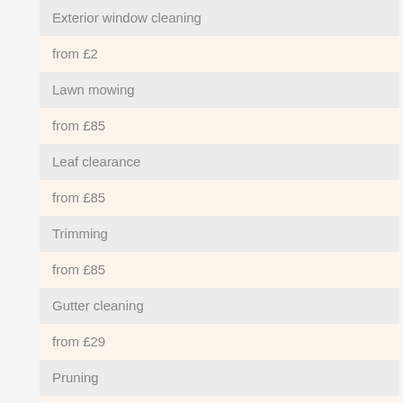Exterior window cleaning
from  £2
Lawn mowing
from  £85
Leaf clearance
from £85
Trimming
from  £85
Gutter cleaning
from  £29
Pruning
from  £85